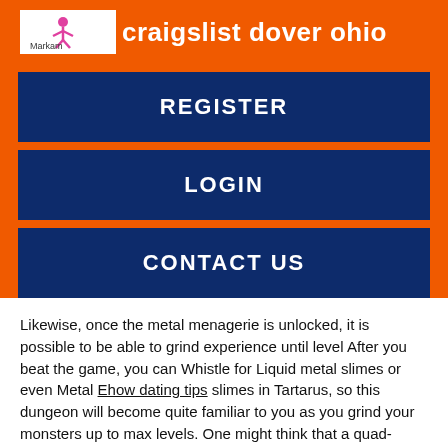craigslist dover ohio
REGISTER
LOGIN
CONTACT US
Likewise, once the metal menagerie is unlocked, it is possible to be able to grind experience until level After you beat the game, you can Whistle for Liquid metal slimes or even Metal Ehow dating tips slimes in Tartarus, so this dungeon will become quite familiar to you as you grind your monsters up to max levels. One might think that a quad-synthesis recipe with Dracky x4 would do the trick, but not Woman seeking casual sex Glen Wilton Virginia that will produce a Great dracky.
An easy way to tell that this monster cannot be synthesised at